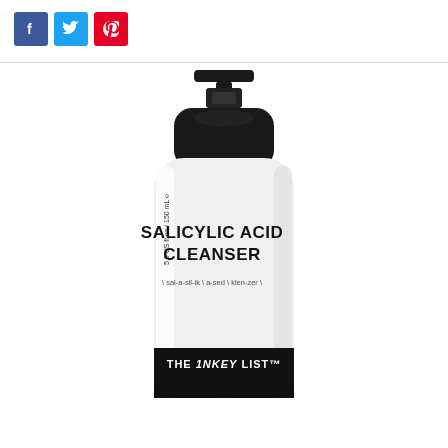[Figure (photo): Social media sharing buttons: Facebook (blue), Twitter (light blue), Pinterest (red)]
[Figure (photo): The Inkey List Salicylic Acid Cleanser product bottle. White pump bottle with black cap, 5.0 US fl.oz / 150 mL, with pronunciation guide 'sal-a-sil-ik a-sed klen-zer' and THE INKEY LIST trademark on black band at bottom.]